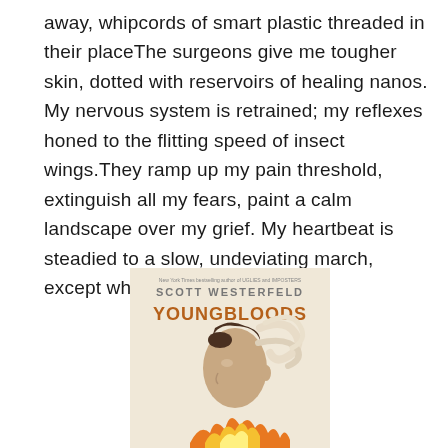away, whipcords of smart plastic threaded in their placeThe surgeons give me tougher skin, dotted with reservoirs of healing nanos. My nervous system is retrained; my reflexes honed to the flitting speed of insect wings.They ramp up my pain threshold, extinguish all my fears, paint a calm landscape over my grief. My heartbeat is steadied to a slow, undeviating march, except when I need it rampant.
[Figure (illustration): Book cover of 'Youngbloods' by Scott Westerfeld. Text at top reads 'New York Times bestselling author of UGLIES and IMPOSTERS'. Below is the author name 'SCOTT WESTERFELD' in gray uppercase letters and the title 'YOUNGBLOODS' in large brown/copper uppercase letters. The cover image shows a profile of a person's face (side view, facing left) with a cream/beige background. The person has dark hair. Swirling cream-colored shapes flow around the head. At the bottom there are orange and yellow flame-like elements.]